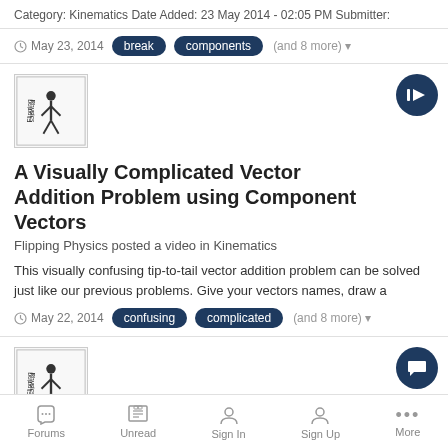Category: Kinematics Date Added: 23 May 2014 - 02:05 PM Submitter:
May 23, 2014  break  components  (and 8 more)
[Figure (logo): Flipping Physics logo — stylized figure with text]
A Visually Complicated Vector Addition Problem using Component Vectors
Flipping Physics posted a video in Kinematics
This visually confusing tip-to-tail vector addition problem can be solved just like our previous problems. Give your vectors names, draw a
May 22, 2014  confusing  complicated  (and 8 more)
[Figure (logo): Flipping Physics logo — stylized figure with text]
Video Discussion: A Visually Complicated Vector...
Forums  Unread  Sign In  Sign Up  More